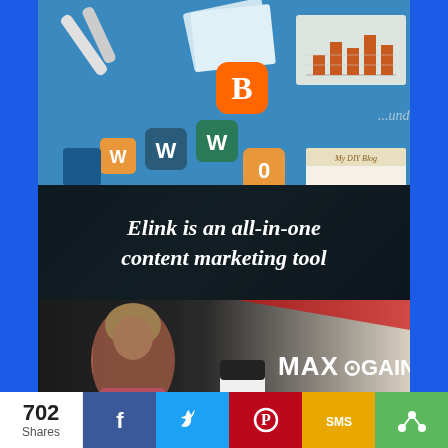[Figure (photo): Blogging and content marketing collage: DIY blog elements, Blogger icon, WWW letter tiles on teal/blue background, bar chart graphic, notebook with 'My DIY Blog' text]
Elink is an all-in-one content marketing tool
[Figure (photo): MaxGains supplement advertisement: woman in gym attire, white supplement bottle, text 'MAXGAINS Buy 2 Get FREE']
702 Shares
[Figure (infographic): Social share bar with Facebook, Twitter, Pinterest, SMS, and share icons]